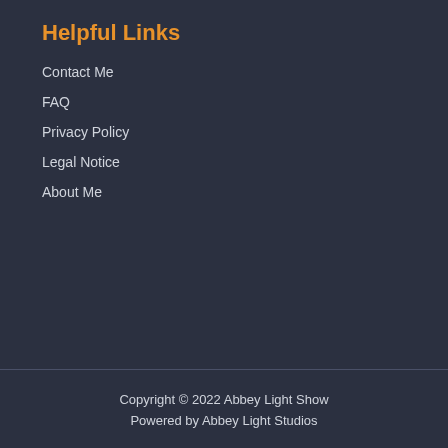Helpful Links
Contact Me
FAQ
Privacy Policy
Legal Notice
About Me
Copyright © 2022 Abbey Light Show
Powered by Abbey Light Studios